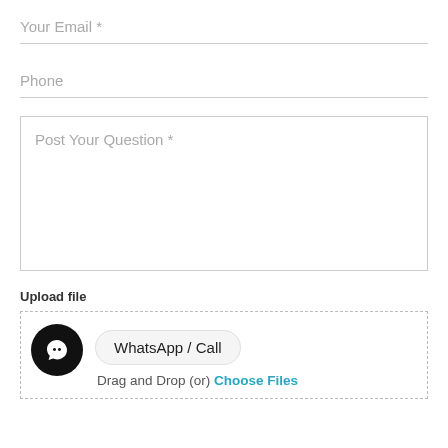Your Email *
Phone
Post Your Question *
Upload file
WhatsApp / Call
Drag and Drop (or) Choose Files